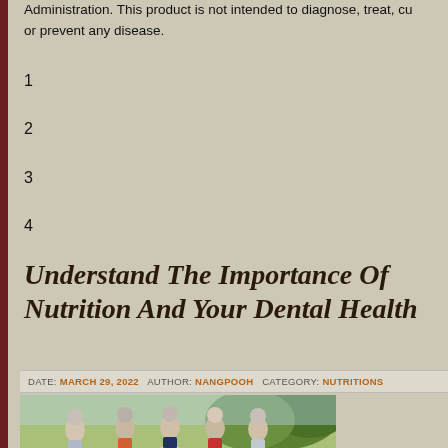Administration. This product is not intended to diagnose, treat, cure or prevent any disease.
1
2
3
4
Understand The Importance Of Nutrition And Your Dental Health
DATE: MARCH 29, 2022  AUTHOR: NANGPOOH  CATEGORY: NUTRITIONS
[Figure (photo): Group of elderly people exercising outdoors in a park, doing stretching or tai chi movements]